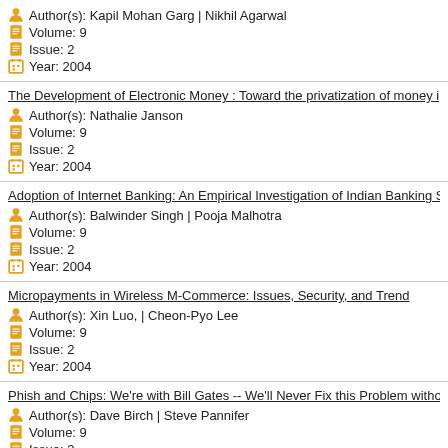Author(s): Kapil Mohan Garg | Nikhil Agarwal
Volume: 9
Issue: 2
Year: 2004
The Development of Electronic Money : Toward the privatization of money i
Author(s): Nathalie Janson
Volume: 9
Issue: 2
Year: 2004
Adoption of Internet Banking: An Empirical Investigation of Indian Banking S
Author(s): Balwinder Singh | Pooja Malhotra
Volume: 9
Issue: 2
Year: 2004
Micropayments in Wireless M-Commerce: Issues, Security, and Trend
Author(s): Xin Luo, | Cheon-Pyo Lee
Volume: 9
Issue: 2
Year: 2004
Phish and Chips: We're with Bill Gates -- We'll Never Fix this Problem witho
Author(s): Dave Birch | Steve Pannifer
Volume: 9
Issue: 2